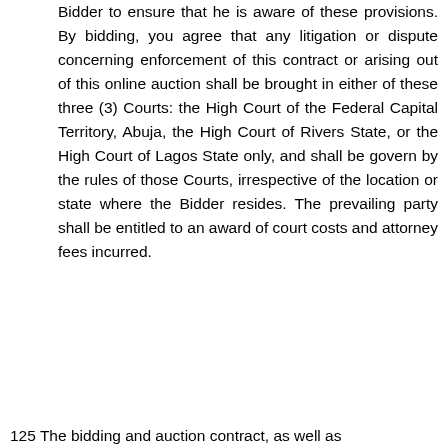Bidder to ensure that he is aware of these provisions. By bidding, you agree that any litigation or dispute concerning enforcement of this contract or arising out of this online auction shall be brought in either of these three (3) Courts: the High Court of the Federal Capital Territory, Abuja, the High Court of Rivers State, or the High Court of Lagos State only, and shall be govern by the rules of those Courts, irrespective of the location or state where the Bidder resides. The prevailing party shall be entitled to an award of court costs and attorney fees incurred.
125 The bidding and auction contract, as well as